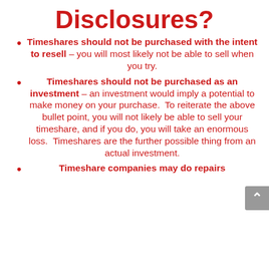Disclosures?
Timeshares should not be purchased with the intent to resell – you will most likely not be able to sell when you try.
Timeshares should not be purchased as an investment – an investment would imply a potential to make money on your purchase.  To reiterate the above bullet point, you will not likely be able to sell your timeshare, and if you do, you will take an enormous loss.  Timeshares are the further possible thing from an actual investment.
Timeshare companies may do repairs